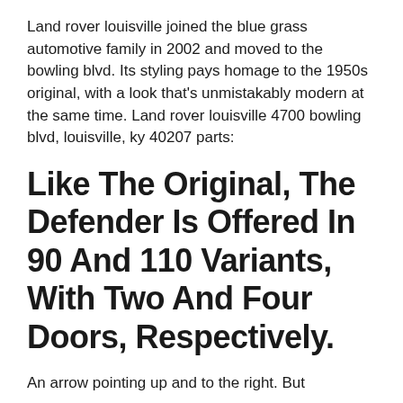Land rover louisville joined the blue grass automotive family in 2002 and moved to the bowling blvd. Its styling pays homage to the 1950s original, with a look that's unmistakably modern at the same time. Land rover louisville 4700 bowling blvd, louisville, ky 40207 parts:
Like The Original, The Defender Is Offered In 90 And 110 Variants, With Two And Four Doors, Respectively.
An arrow pointing up and to the right. But